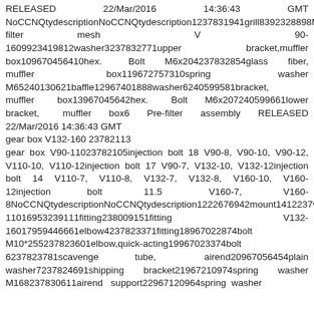RELEASED 22/Mar/2016 14:36:43 GMT NoCCNQtydescriptionNoCCNQtydescription1237831941grill8392328898M62237832021pre-filter mesh V 90-1609923419812washer3237832771upper bracket,muffler box109670456410hex. Bolt M6x204237832854glass fiber, muffler box119672757310spring washer M65240130621baffle12967401888washer6240599581bracket, muffler box13967045642hex. Bolt M6x207240599661lower bracket, muffler box6 Pre-filter assembly RELEASED 22/Mar/2016 14:36:43 GMT gear box V132-160 23782113 gear box V90-11023782105injection bolt 18 V90-8, V90-10, V90-12, V110-10, V110-12injection bolt 17 V90-7, V132-10, V132-12injection bolt 14 V110-7, V110-8, V132-7, V132-8, V160-10, V160-12injection bolt 11.5 V160-7, V160-8NoCCNQtydescriptionNoCCNQtydescription1222676942mount1412237valve3237820971fitting V90-11016953239111fitting238009151fitting V132-16017959446661elbow4237823371fitting18967022874bolt M10*255237823601elbow,quick-acting19967023374bolt 6237823781scavenge tube, airend20967056454plain washer7237824691shipping bracket21967210974spring washer M168237830611airend support22967120964spring washer